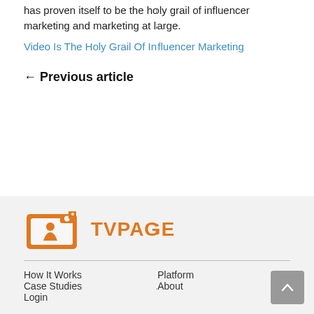has proven itself to be the holy grail of influencer marketing and marketing at large.
Video Is The Holy Grail Of Influencer Marketing
← Previous article
[Figure (logo): TVPage logo: orange icon of person filming in front of TV screen, with text TVPAGE in orange]
How It Works
Case Studies
Login
Platform
About